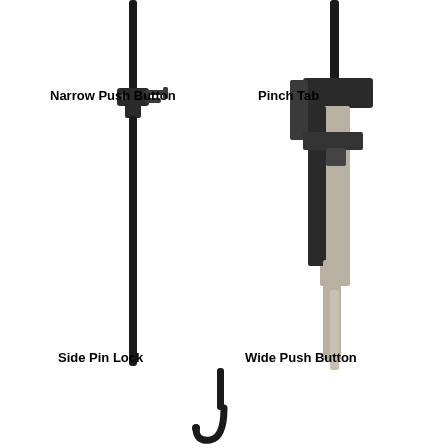[Figure (photo): Narrow Push Button latch mechanism — a slender black metal rod with a small push-button assembly and two prong ends at mid-section]
Narrow Push Button
[Figure (photo): Pinch Tab latch mechanism — a black and silver metal pinch-tab connector with a wide flat blade]
Pinch Tab
[Figure (photo): Side Pin Lock latch mechanism — same as narrow push button style, thin black rod with side pin lock assembly]
Side Pin Lock
[Figure (photo): Wide Push Button latch mechanism — wider black and silver metal push button connector]
Wide Push Button
[Figure (photo): A small black J-hook or shepherd's hook shaped latch at the bottom center of the page]